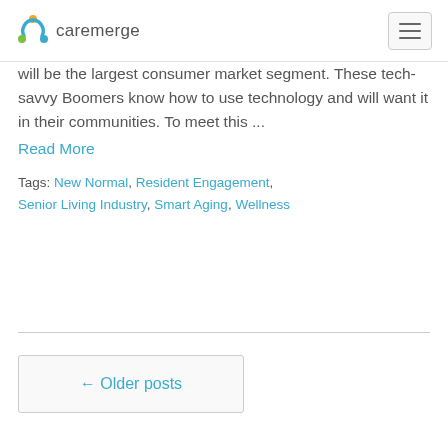caremerge
will be the largest consumer market segment. These tech-savvy Boomers know how to use technology and will want it in their communities. To meet this ...
Read More
Tags: New Normal, Resident Engagement, Senior Living Industry, Smart Aging, Wellness
← Older posts